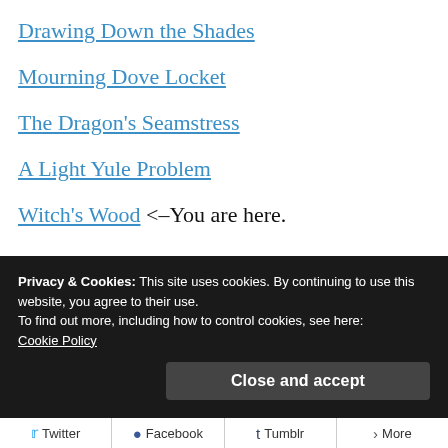Drawing Down the Shades
Mourning Dove Locket
The Dragon's Seamstress
A Light Yule Problem
Witch's Wood <–You are here.
As the series is sequential, I really recommend you read them in order, if you haven't already. Enjoy and thank
Privacy & Cookies: This site uses cookies. By continuing to use this website, you agree to their use.
To find out more, including how to control cookies, see here:
Cookie Policy
Close and accept
Twitter   Facebook   Tumblr   More